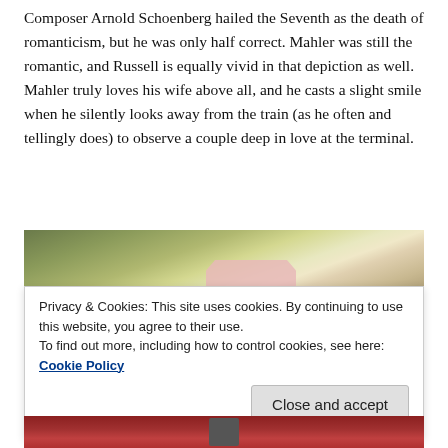Composer Arnold Schoenberg hailed the Seventh as the death of romanticism, but he was only half correct. Mahler was still the romantic, and Russell is equally vivid in that depiction as well. Mahler truly loves his wife above all, and he casts a slight smile when he silently looks away from the train (as he often and tellingly does) to observe a couple deep in love at the terminal.
[Figure (photo): Partial photo showing greenish-yellow background with a pink rectangular object, partially visible. Bottom strip shows red-toned scene.]
Privacy & Cookies: This site uses cookies. By continuing to use this website, you agree to their use.
To find out more, including how to control cookies, see here:
Cookie Policy
Close and accept